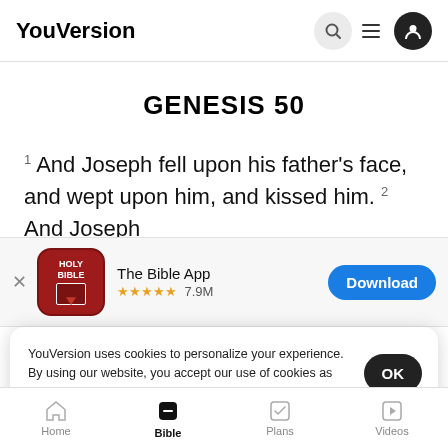YouVersion
GENESIS 50
1 And Joseph fell upon his father's face, and wept upon him, and kissed him. 2 And Joseph
[Figure (screenshot): The Bible App banner with red Holy Bible icon, star rating 7.9M, and Download button]
3 And fo fulfilled
YouVersion uses cookies to personalize your experience. By using our website, you accept our use of cookies as described in our Privacy Policy.
Home  Bible  Plans  Videos